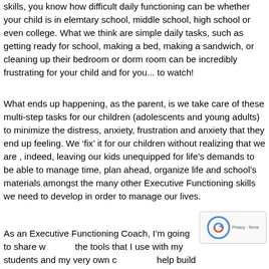skills, you know how difficult daily functioning can be whether your child is in elemtary school, middle school, high school or even college. What we think are simple daily tasks, such as getting ready for school, making a bed, making a sandwich, or cleaning up their bedroom or dorm room can be incredibly frustrating for your child and for you... to watch!
What ends up happening, as the parent, is we take care of these multi-step tasks for our children (adolescents and young adults) to minimize the distress, anxiety, frustration and anxiety that they end up feeling. We ‘fix’ it for our children without realizing that we are , indeed, leaving our kids unequipped for life’s demands to be able to manage time, plan ahead, organize life and school’s materials amongst the many other Executive Functioning skills we need to develop in order to manage our lives.
As an Executive Functioning Coach, I’m going to share w... the tools that I use with my students and my very own c... help build the skills needed to manage school and life tasks. Here...